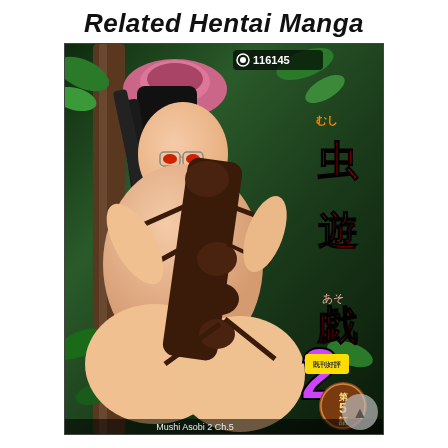Related Hentai Manga
[Figure (illustration): Anime-style manga cover illustration showing a female character with a large insect creature in a forest setting. Japanese title reads 虫遊戯2 (Mushi Asobi 2). View count shows 116145. Chapter 5 badge visible. Caption text 'Mushi Asobi 2 Ch.5' at bottom.]